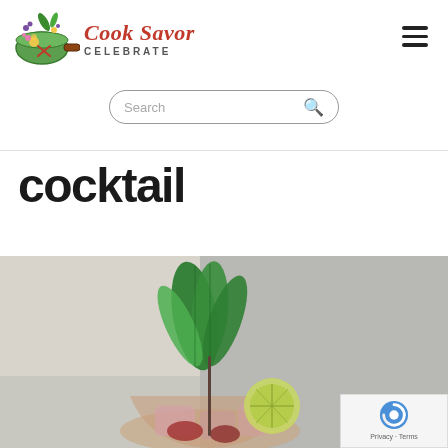[Figure (logo): Cook Savor Celebrate logo with colorful pan illustration and script text]
[Figure (screenshot): Search bar with rounded pill shape and magnifying glass icon]
cocktail
[Figure (photo): Close-up photo of a cocktail drink garnished with fresh mint leaves and a lime slice, with ice and red fruit visible in the glass]
Privacy · Terms